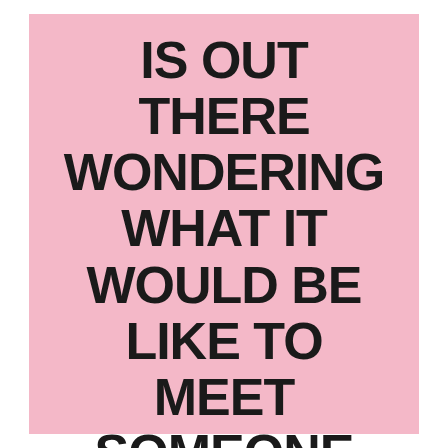IS OUT THERE WONDERING WHAT IT WOULD BE LIKE TO MEET SOMEONE LIKE YOU."
— UNKNOWN
ITSALLYOUBOO.COM